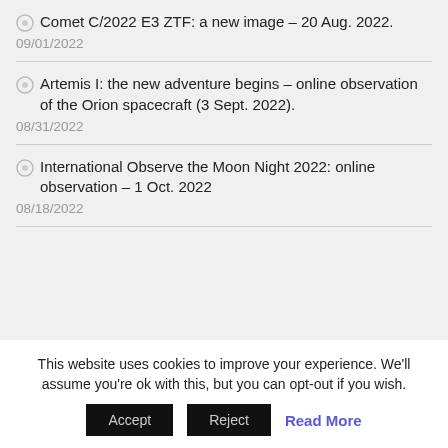Comet C/2022 E3 ZTF: a new image – 20 Aug. 2022.
09/01/2022
Artemis I: the new adventure begins – online observation of the Orion spacecraft (3 Sept. 2022).
08/31/2022
International Observe the Moon Night 2022: online observation – 1 Oct. 2022
08/18/2022
[Figure (screenshot): Google Custom Search bar with text input and Search button]
This website uses cookies to improve your experience. We'll assume you're ok with this, but you can opt-out if you wish.